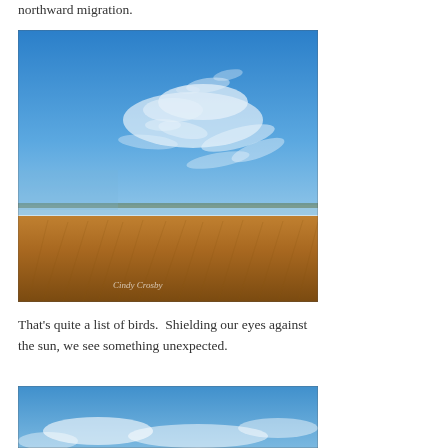northward migration.
[Figure (photo): Wide-angle landscape photograph showing a vast golden-brown prairie or grassland under a vivid blue sky with wispy white cirrus clouds. A thin line of distant trees marks the horizon. Watermark reads 'Cindy Crosby' in lower left.]
That's quite a list of birds.  Shielding our eyes against the sun, we see something unexpected.
[Figure (photo): Partial photograph showing bottom portion of a blue sky scene, cropped at bottom of page.]